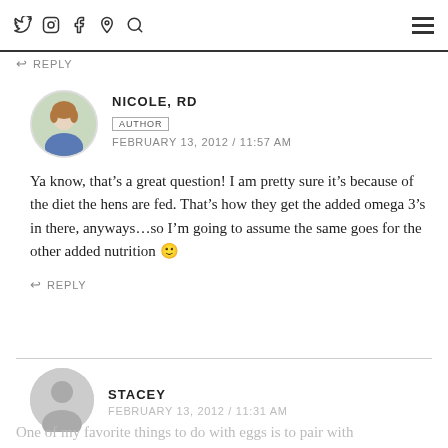Navigation bar with social media icons (Twitter, Instagram, Facebook, Pinterest, Search) and hamburger menu
↩ REPLY
NICOLE, RD
AUTHOR
FEBRUARY 13, 2012 / 11:57 AM
Ya know, that's a great question! I am pretty sure it's because of the diet the hens are fed. That's how they get the added omega 3's in there, anyways…so I'm going to assume the same goes for the other added nutrition 🙂
↩ REPLY
STACEY
FEBRUARY 13, 2012 / 11:31 AM
One of my favorite things to do with eggs is to pair with